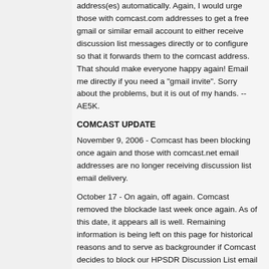address(es) automatically. Again, I would urge those with comcast.com addresses to get a free gmail or similar email account to either receive discussion list messages directly or to configure so that it forwards them to the comcast address. That should make everyone happy again! Email me directly if you need a "gmail invite". Sorry about the problems, but it is out of my hands. -- AE5K.
COMCAST UPDATE
November 9, 2006 - Comcast has been blocking once again and those with comcast.net email addresses are no longer receiving discussion list email delivery.
October 17 - On again, off again. Comcast removed the blockade last week once again. As of this date, it appears all is well. Remaining information is being left on this page for historical reasons and to serve as backgrounder if Comcast decides to block our HPSDR Discussion List email from reaching their customers once again.
September 29 - Comcast is "at it again" -- as of